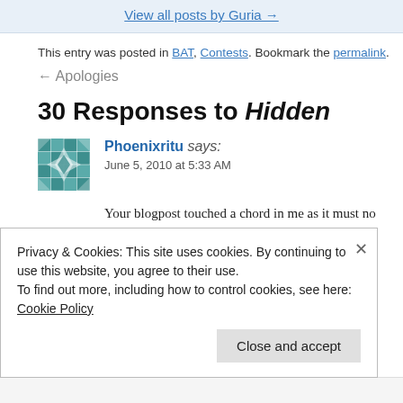View all posts by Guria →
This entry was posted in BAT, Contests. Bookmark the permalink.
← Apologies
30 Responses to Hidden
Phoenixritu says:
June 5, 2010 at 5:33 AM
Your blogpost touched a chord in me as it must no reads. You have expressed the deep-seated need...
Privacy & Cookies: This site uses cookies. By continuing to use this website, you agree to their use.
To find out more, including how to control cookies, see here: Cookie Policy
Close and accept